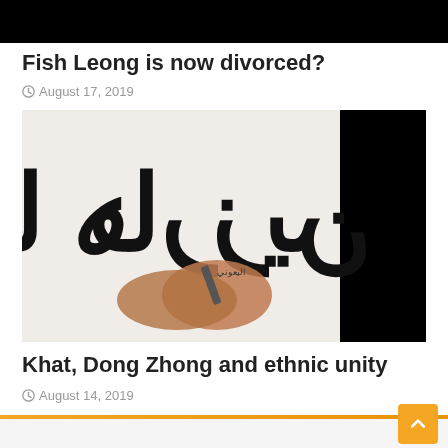[Figure (photo): Black image at top of page (cropped/blacked out)]
Fish Leong is now divorced?
August 17, 2019
[Figure (photo): Photo of hands writing Arabic calligraphy (Jawi script) on white paper, with a black rectangle on the right side]
Khat, Dong Zhong and ethnic unity
August 14, 2019